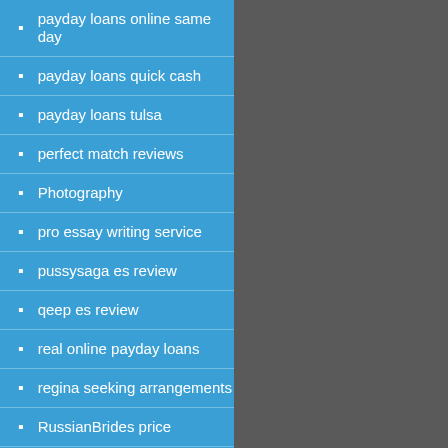payday loans online same day
payday loans quick cash
payday loans tulsa
perfect match reviews
Photography
pro essay writing service
pussysaga es review
qeep es review
real online payday loans
regina seeking arrangements
RussianBrides price
russianbrides reviews
seeking